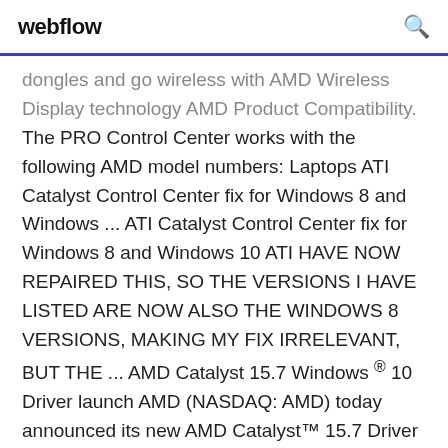webflow
dongles and go wireless with AMD Wireless Display technology AMD Product Compatibility. The PRO Control Center works with the following AMD model numbers: Laptops ATI Catalyst Control Center fix for Windows 8 and Windows ... ATI Catalyst Control Center fix for Windows 8 and Windows 10 ATI HAVE NOW REPAIRED THIS, SO THE VERSIONS I HAVE LISTED ARE NOW ALSO THE WINDOWS 8 VERSIONS, MAKING MY FIX IRRELEVANT, BUT THE ... AMD Catalyst 15.7 Windows ® 10 Driver launch AMD (NASDAQ: AMD) today announced its new AMD Catalyst™ 15.7 Driver update delivering seamless and intuitive support for